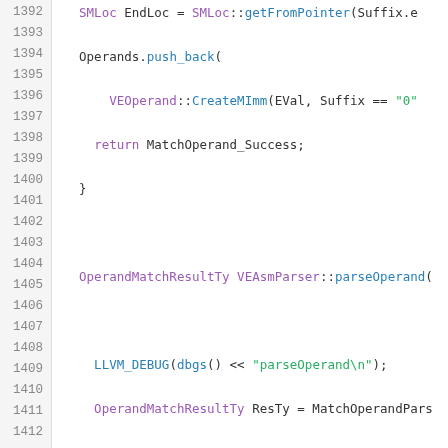[Figure (screenshot): Source code listing lines 1392-1412 of a C++ file, showing VEAsmParser methods including parseOperand with syntax highlighting on a white/light gray background. Keywords and types in purple, identifiers/functions in blue, strings and comments in green.]